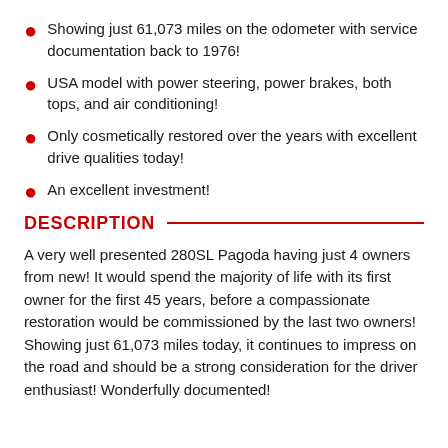Showing just 61,073 miles on the odometer with service documentation back to 1976!
USA model with power steering, power brakes, both tops, and air conditioning!
Only cosmetically restored over the years with excellent drive qualities today!
An excellent investment!
DESCRIPTION
A very well presented 280SL Pagoda having just 4 owners from new! It would spend the majority of life with its first owner for the first 45 years, before a compassionate restoration would be commissioned by the last two owners! Showing just 61,073 miles today, it continues to impress on the road and should be a strong consideration for the driver enthusiast! Wonderfully documented!